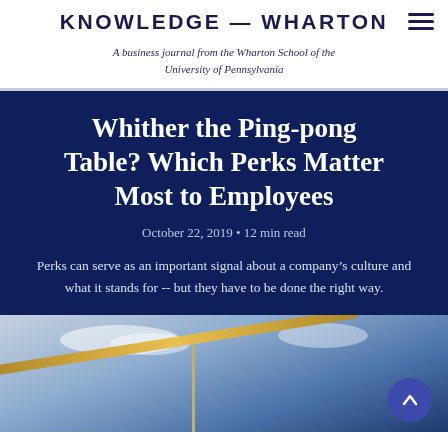KNOWLEDGE @ WHARTON
A business journal from the Wharton School of the University of Pennsylvania
Whither the Ping-pong Table? Which Perks Matter Most to Employees
October 22, 2019 • 12 min read
Perks can serve as an important signal about a company's culture and what it stands for -- but they have to be done the right way.
[Figure (photo): Photo of a ping-pong table or outdoor sign against a blue sky with clouds]